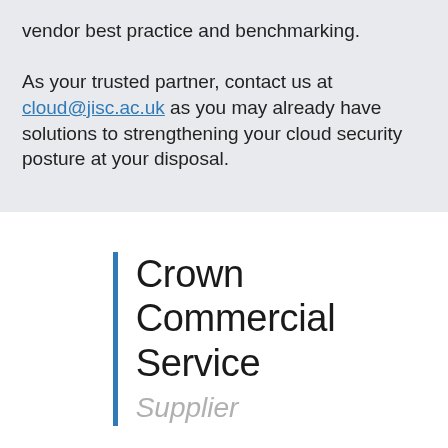vendor best practice and benchmarking.

As your trusted partner, contact us at cloud@jisc.ac.uk as you may already have solutions to strengthening your cloud security posture at your disposal.
[Figure (logo): Crown Commercial Service Supplier logo: a vertical blue bar on the left, next to the text 'Crown Commercial Service' in dark sans-serif and 'Supplier' in italic light grey.]